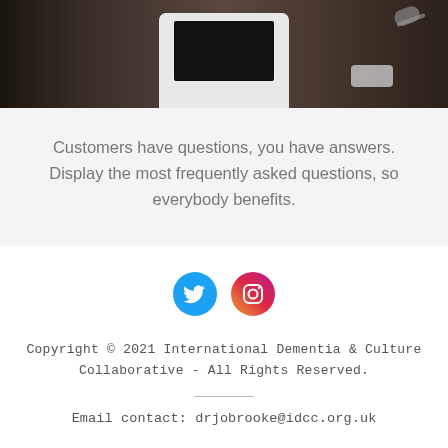[Figure (photo): Top portion of a photo showing a dark wooden desk surface with a tablet, glasses, and a phone visible]
Customers have questions, you have answers. Display the most frequently asked questions, so everybody benefits.
[Figure (other): Twitter and Instagram social media icons side by side]
Copyright © 2021 International Dementia & Culture Collaborative - All Rights Reserved.
Email contact: drjobrooke@idcc.org.uk